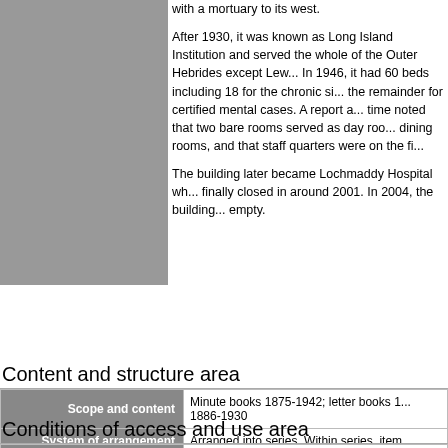with a mortuary to its west.
After 1930, it was known as Long Island Institution and served the whole of the Outer Hebrides except Lewis. In 1946, it had 60 beds including 18 for the chronic sick and the remainder for certified mental cases. A report at the time noted that two bare rooms served as day rooms and dining rooms, and that staff quarters were on the first floor.
The building later became Lochmaddy Hospital which finally closed in around 2001. In 2004, the building stood empty.
|  |  |
| --- | --- |
| Repository | Tasglann nan Eilean Siar, Stornoway |
| Immediate source of acquisition or transfer | Internal transfer from Museum nan Eile... |
Content and structure area
|  |  |
| --- | --- |
| Scope and content | Minute books 1875-1942; letter books 1... 1886-1930 |
| System of arrangement | Arranged into series. Within series, item... |
Conditions of access and use area
|  |  |
| --- | --- |
| Conditions governing access | Open. Some records containing person... date in the volume. |
| Language of material | English |